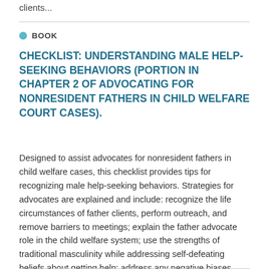clients...
BOOK
CHECKLIST: UNDERSTANDING MALE HELP-SEEKING BEHAVIORS (PORTION IN CHAPTER 2 OF ADVOCATING FOR NONRESIDENT FATHERS IN CHILD WELFARE COURT CASES).
Designed to assist advocates for nonresident fathers in child welfare cases, this checklist provides tips for recognizing male help-seeking behaviors. Strategies for advocates are explained and include: recognize the life circumstances of father clients, perform outreach, and remove barriers to meetings; explain the father advocate role in the child welfare system; use the strengths of traditional masculinity while addressing self-defeating beliefs about getting help; address any negative biases about fathers; and learn and practice male-friendly rapport-building tactics.